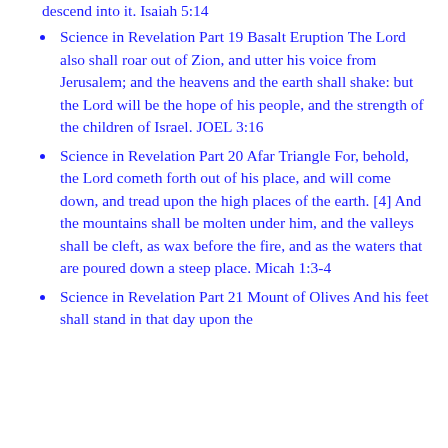descend into it. Isaiah 5:14
Science in Revelation Part 19 Basalt Eruption The Lord also shall roar out of Zion, and utter his voice from Jerusalem; and the heavens and the earth shall shake: but the Lord will be the hope of his people, and the strength of the children of Israel. JOEL 3:16
Science in Revelation Part 20 Afar Triangle For, behold, the Lord cometh forth out of his place, and will come down, and tread upon the high places of the earth. [4] And the mountains shall be molten under him, and the valleys shall be cleft, as wax before the fire, and as the waters that are poured down a steep place. Micah 1:3-4
Science in Revelation Part 21 Mount of Olives And his feet shall stand in that day upon the